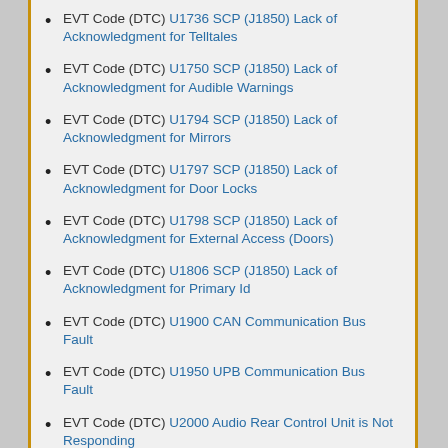EVT Code (DTC) U1736 SCP (J1850) Lack of Acknowledgment for Telltales
EVT Code (DTC) U1750 SCP (J1850) Lack of Acknowledgment for Audible Warnings
EVT Code (DTC) U1794 SCP (J1850) Lack of Acknowledgment for Mirrors
EVT Code (DTC) U1797 SCP (J1850) Lack of Acknowledgment for Door Locks
EVT Code (DTC) U1798 SCP (J1850) Lack of Acknowledgment for External Access (Doors)
EVT Code (DTC) U1806 SCP (J1850) Lack of Acknowledgment for Primary Id
EVT Code (DTC) U1900 CAN Communication Bus Fault
EVT Code (DTC) U1950 UPB Communication Bus Fault
EVT Code (DTC) U2000 Audio Rear Control Unit is Not Responding
EVT Code (DTC) U2001 Audio Tape Deck Unit is Not Responding
EVT Code (DTC) U2002 Audio Bezel is Not Responding